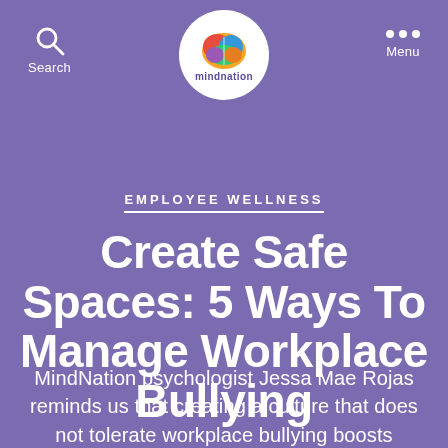Search | mindnation | Menu
EMPLOYEE WELLNESS
Create Safe Spaces: 5 Ways To Manage Workplace Bullying
MindNation psychologist Jessa Mae Rojas reminds us that creating a culture that does not tolerate workplace bullying boosts morale, productivity, and the